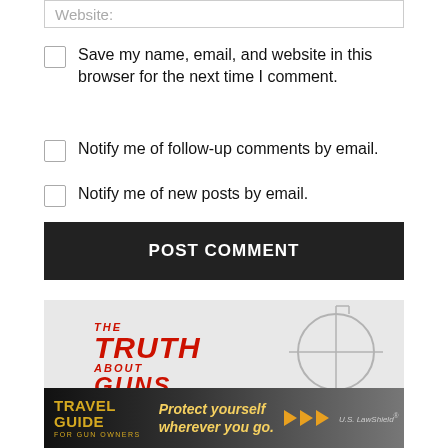Website:
Save my name, email, and website in this browser for the next time I comment.
Notify me of follow-up comments by email.
Notify me of new posts by email.
POST COMMENT
[Figure (logo): The Truth About Guns logo with crosshair graphic]
[Figure (photo): US LawShield Travel Guide for Gun Owners advertisement banner: 'Protect yourself wherever you go.']